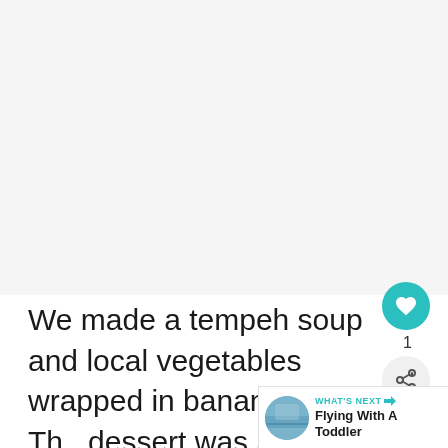[Figure (photo): Large white/blank image area occupying the top portion of the page]
We made a tempeh soup and local vegetables wrapped in banana leaves. The dessert was a green coloured eggless pancake filled with coconut and ca... as well as fruits. They set a table up outside